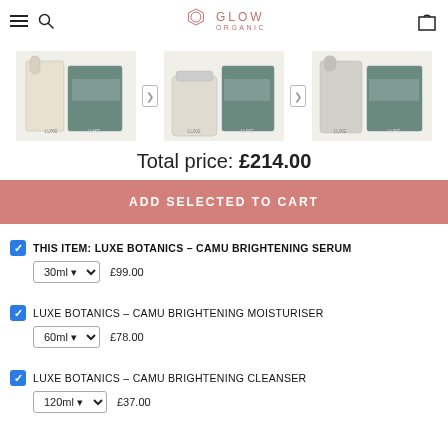Glow Organic – navigation header with hamburger menu, search, logo, and cart icon
[Figure (photo): Three product images of Luxe Botanics skincare products: serum bottle with box, moisturiser tube with box, and cleanser bottles with box, shown in a horizontal strip with navigation arrows between them]
Total price: £214.00
ADD SELECTED TO CART
THIS ITEM: LUXE BOTANICS – CAMU BRIGHTENING SERUM | 30ml | £99.00
LUXE BOTANICS – CAMU BRIGHTENING MOISTURISER | 60ml | £78.00
LUXE BOTANICS – CAMU BRIGHTENING CLEANSER | 120ml | £37.00